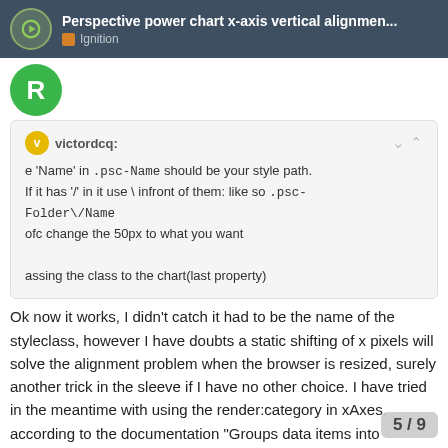Perspective power chart x-axis vertical alignmen... | Ignition
victordcq: e 'Name' in .psc-Name should be your style path. If it has '/' in it use \ infront of them: like so .psc-Folder\/Name ofc change the 50px to what you want assing the class to the chart(last property)
Ok now it works, I didn't catch it had to be the name of the styleclass, however I have doubts a static shifting of x pixels will solve the alignment problem when the browser is resized, surely another trick in the sleeve if I have no other choice. I have tried in the meantime with using the render:category in xAxes, according to the documentation "Groups data items into categories and allots equal space for each
5 / 9